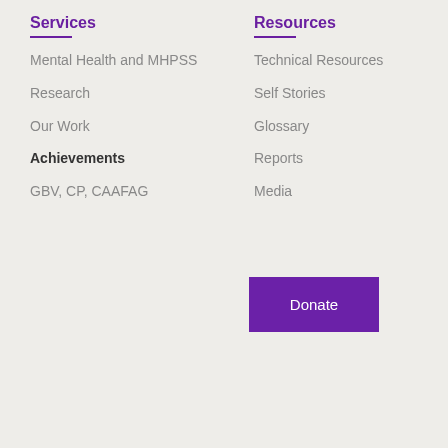Services
Mental Health and MHPSS
Research
Our Work
Achievements
GBV, CP, CAAFAG
Resources
Technical Resources
Self Stories
Glossary
Reports
Media
Donate